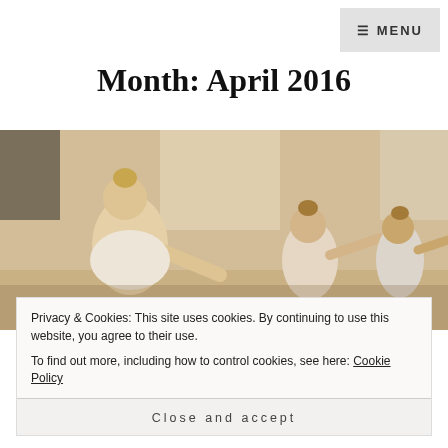≡ MENU
Month: April 2016
[Figure (photo): Young girls in white ballet attire performing a stretching pose on the floor in a bright dance studio, with more children visible in the background.]
Privacy & Cookies: This site uses cookies. By continuing to use this website, you agree to their use.
To find out more, including how to control cookies, see here: Cookie Policy
Close and accept